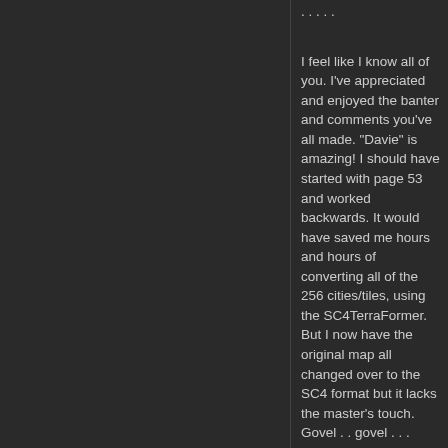I feel like I know all of you. I've appreciated and enjoyed the banter and comments you've all made. "Davie" is amazing! I should have started with page 53 and worked backwards. It would have saved me hours and hours of converting all of the 256 cities/tiles, using the SC4TerraFormer. But I now have the original map all changed over to the SC4 format but it lacks the master's touch. Govel . . govel . . . kowtow . .